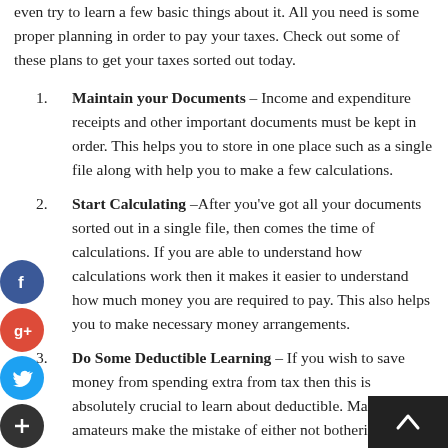even try to learn a few basic things about it. All you need is some proper planning in order to pay your taxes. Check out some of these plans to get your taxes sorted out today.
Maintain your Documents – Income and expenditure receipts and other important documents must be kept in order. This helps you to store in one place such as a single file along with help you to make a few calculations.
Start Calculating –After you've got all your documents sorted out in a single file, then comes the time of calculations. If you are able to understand how calculations work then it makes it easier to understand how much money you are required to pay. This also helps you to make necessary money arrangements.
Do Some Deductible Learning – If you wish to save money from spending extra from tax then this is absolutely crucial to learn about deductible. Many amateurs make the mistake of either not bothering to learn about deductibles or simply